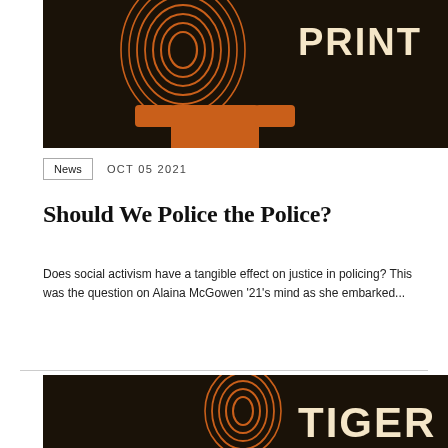[Figure (illustration): Dark background with orange fingerprint and figure illustration, partial view of Tiger Print publication header]
News   OCT 05 2021
Should We Police the Police?
Does social activism have a tangible effect on justice in policing? This was the question on Alaina McGowen '21's mind as she embarked...
[Figure (illustration): Dark background with orange fingerprint illustration, partial view of Tiger Print publication, shows 'TIGER' text]